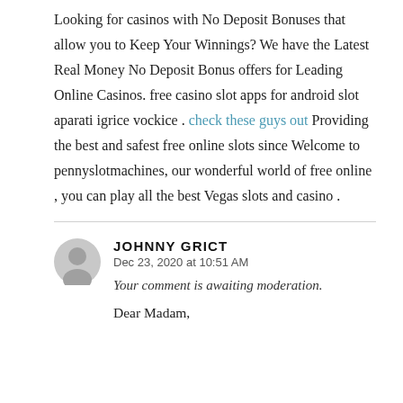Looking for casinos with No Deposit Bonuses that allow you to Keep Your Winnings? We have the Latest Real Money No Deposit Bonus offers for Leading Online Casinos. free casino slot apps for android slot aparati igrice vockice . check these guys out Providing the best and safest free online slots since Welcome to pennyslotmachines, our wonderful world of free online , you can play all the best Vegas slots and casino .
JOHNNY GRICT
Dec 23, 2020 at 10:51 AM
Your comment is awaiting moderation.
Dear Madam,